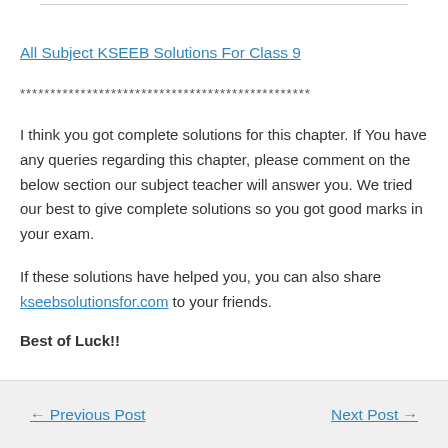All Subject KSEEB Solutions For Class 9
************************************************
I think you got complete solutions for this chapter. If You have any queries regarding this chapter, please comment on the below section our subject teacher will answer you. We tried our best to give complete solutions so you got good marks in your exam.
If these solutions have helped you, you can also share kseebsolutionsfor.com to your friends.
Best of Luck!!
← Previous Post    Next Post →